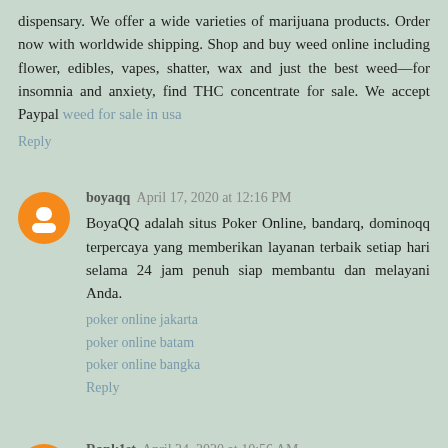dispensary. We offer a wide varieties of marijuana products. Order now with worldwide shipping. Shop and buy weed online including flower, edibles, vapes, shatter, wax and just the best weed—for insomnia and anxiety, find THC concentrate for sale. We accept Paypal weed for sale in usa
Reply
boyaqq April 17, 2020 at 12:16 PM
BoyaQQ adalah situs Poker Online, bandarq, dominoqq terpercaya yang memberikan layanan terbaik setiap hari selama 24 jam penuh siap membantu dan melayani Anda.
poker online jakarta
poker online batam
poker online bangka
Reply
Rank1st April 24, 2020 at 10:56 AM
Dewapoker Agen Poker Online No.1 Indonesia Sejak tahun 2008, Dewa Poker Online Minimal Deposit Rp 25.000